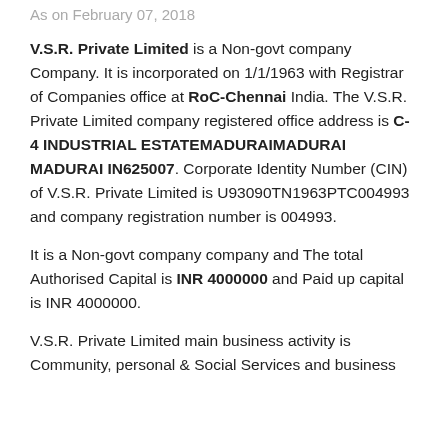As on February 07, 2018
V.S.R. Private Limited is a Non-govt company Company. It is incorporated on 1/1/1963 with Registrar of Companies office at RoC-Chennai India. The V.S.R. Private Limited company registered office address is C-4 INDUSTRIAL ESTATEMADURAIMADURAI MADURAI IN625007. Corporate Identity Number (CIN) of V.S.R. Private Limited is U93090TN1963PTC004993 and company registration number is 004993.
It is a Non-govt company company and The total Authorised Capital is INR 4000000 and Paid up capital is INR 4000000.
V.S.R. Private Limited main business activity is Community, personal & Social Services and business